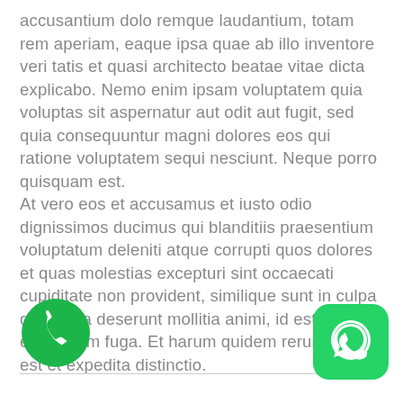accusantium dolo remque laudantium, totam rem aperiam, eaque ipsa quae ab illo inventore veri tatis et quasi architecto beatae vitae dicta explicabo. Nemo enim ipsam voluptatem quia voluptas sit aspernatur aut odit aut fugit, sed quia consequuntur magni dolores eos qui ratione voluptatem sequi nesciunt. Neque porro quisquam est. At vero eos et accusamus et iusto odio dignissimos ducimus qui blanditiis praesentium voluptatum deleniti atque corrupti quos dolores et quas molestias excepturi sint occaecati cupiditate non provident, similique sunt in culpa qui officia deserunt mollitia animi, id est laborum et dolorum fuga. Et harum quidem rerum facilis est et expedita distinctio.
[Figure (illustration): Green circular phone call icon (telephone handset on green background) in the bottom left corner]
[Figure (illustration): WhatsApp green rounded square icon in the bottom right corner]